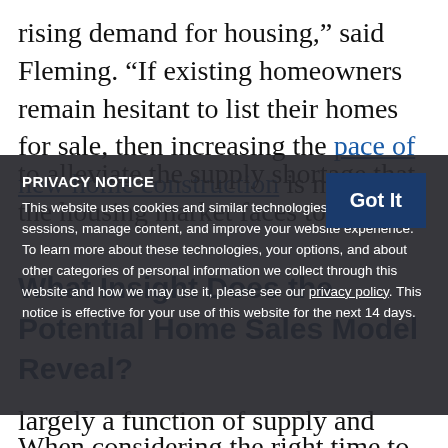rising demand for housing,” said Fleming. “If existing homeowners remain hesitant to list their homes for sale, then increasing the pace of new home construction is necessary to alleviate the supply shortage that the housing market faces today.”
PRIVACY NOTICE
This website uses cookies and similar technologies to manage your sessions, manage content, and improve your website experience. To learn more about these technologies, your options, and about other categories of personal information we collect through this website and how we may use it, please see our privacy policy. This notice is effective for your use of this website for the next 14 days.
What Insight Does the Potential Home Sales Model Reveal?
When considering the right time to buy or sell a home, an important factor in the decision should be the market’s overall health, which is largely a function of supply and